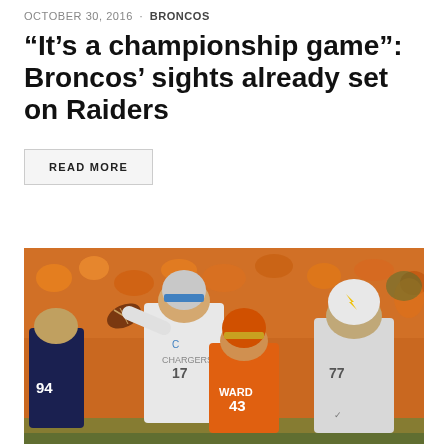OCTOBER 30, 2016 · BRONCOS
“It’s a championship game”: Broncos’ sights already set on Raiders
READ MORE
[Figure (photo): NFL football game photo showing a San Diego Chargers quarterback (number 17) throwing a pass while Denver Broncos defenders including player WARD number 43 rush in, with orange-clad crowd in background.]